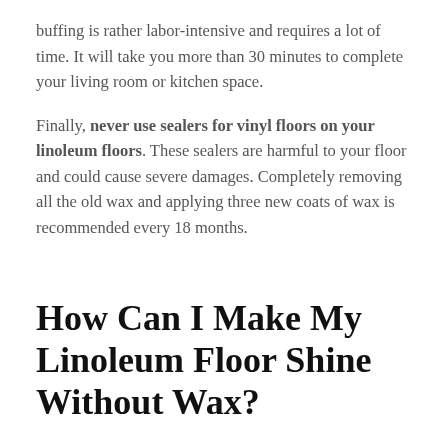buffing is rather labor-intensive and requires a lot of time. It will take you more than 30 minutes to complete your living room or kitchen space.
Finally, never use sealers for vinyl floors on your linoleum floors. These sealers are harmful to your floor and could cause severe damages. Completely removing all the old wax and applying three new coats of wax is recommended every 18 months.
How Can I Make My Linoleum Floor Shine Without Wax?